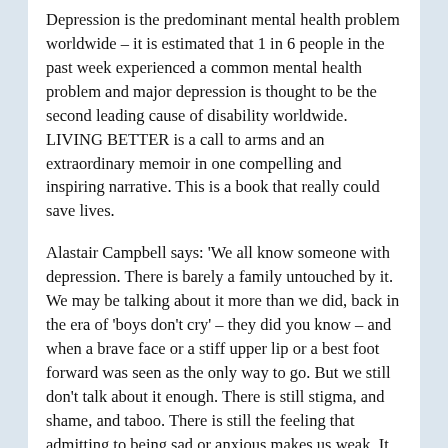Depression is the predominant mental health problem worldwide – it is estimated that 1 in 6 people in the past week experienced a common mental health problem and major depression is thought to be the second leading cause of disability worldwide. LIVING BETTER is a call to arms and an extraordinary memoir in one compelling and inspiring narrative. This is a book that really could save lives.
Alastair Campbell says: 'We all know someone with depression. There is barely a family untouched by it. We may be talking about it more than we did, back in the era of 'boys don't cry' – they did you know – and when a brave face or a stiff upper lip or a best foot forward was seen as the only way to go. But we still don't talk about it enough. There is still stigma, and shame, and taboo. There is still the feeling that admitting to being sad or anxious makes us weak. It took me